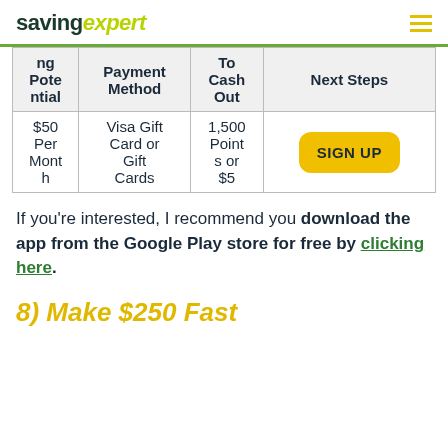savingexpert
| ng Pote ntial | Payment Method | To Cash Out | Next Steps |
| --- | --- | --- | --- |
| $50 Per Month | Visa Gift Card or Gift Cards | 1,500 Points or $5 | SIGN UP |
If you're interested, I recommend you download the app from the Google Play store for free by clicking here.
8) Make $250 Fast